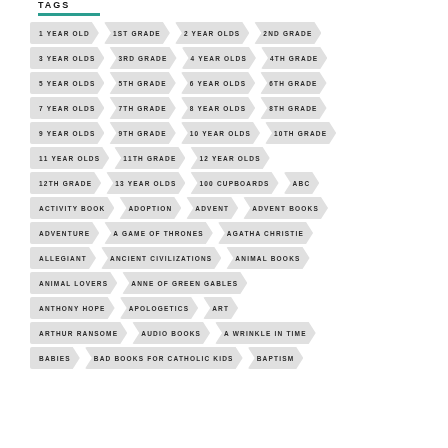TAGS
1 YEAR OLD
1ST GRADE
2 YEAR OLDS
2ND GRADE
3 YEAR OLDS
3RD GRADE
4 YEAR OLDS
4TH GRADE
5 YEAR OLDS
5TH GRADE
6 YEAR OLDS
6TH GRADE
7 YEAR OLDS
7TH GRADE
8 YEAR OLDS
8TH GRADE
9 YEAR OLDS
9TH GRADE
10 YEAR OLDS
10TH GRADE
11 YEAR OLDS
11TH GRADE
12 YEAR OLDS
12TH GRADE
13 YEAR OLDS
100 CUPBOARDS
ABC
ACTIVITY BOOK
ADOPTION
ADVENT
ADVENT BOOKS
ADVENTURE
A GAME OF THRONES
AGATHA CHRISTIE
ALLEGIANT
ANCIENT CIVILIZATIONS
ANIMAL BOOKS
ANIMAL LOVERS
ANNE OF GREEN GABLES
ANTHONY HOPE
APOLOGETICS
ART
ARTHUR RANSOME
AUDIO BOOKS
A WRINKLE IN TIME
BABIES
BAD BOOKS FOR CATHOLIC KIDS
BAPTISM